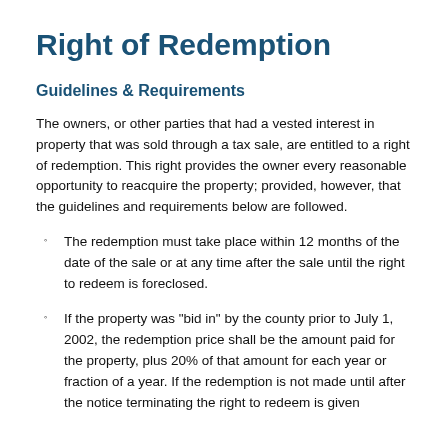Right of Redemption
Guidelines & Requirements
The owners, or other parties that had a vested interest in property that was sold through a tax sale, are entitled to a right of redemption. This right provides the owner every reasonable opportunity to reacquire the property; provided, however, that the guidelines and requirements below are followed.
The redemption must take place within 12 months of the date of the sale or at any time after the sale until the right to redeem is foreclosed.
If the property was "bid in" by the county prior to July 1, 2002, the redemption price shall be the amount paid for the property, plus 20% of that amount for each year or fraction of a year. If the redemption is not made until after the notice terminating the right to redeem is given